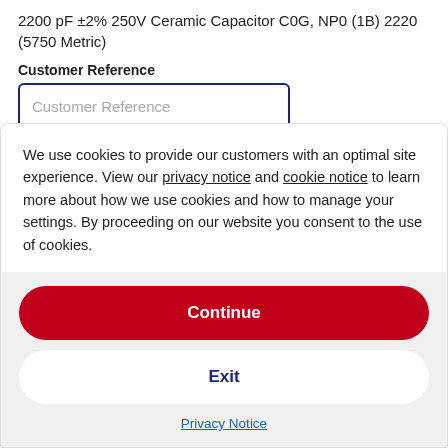2200 pF ±2% 250V Ceramic Capacitor C0G, NP0 (1B) 2220 (5750 Metric)
Customer Reference
Customer Reference (input placeholder)
Datasheet
Datasheet (link)
We use cookies to provide our customers with an optimal site experience. View our privacy notice and cookie notice to learn more about how we use cookies and how to manage your settings. By proceeding on our website you consent to the use of cookies.
Continue
Exit
Privacy Notice